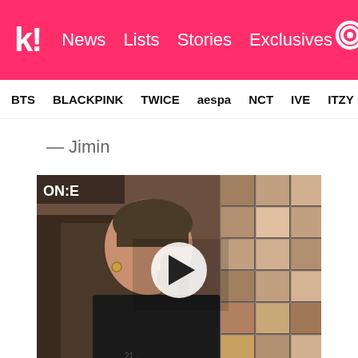k! News  Lists  Stories  Exclusives
BTS  BLACKPINK  TWICE  aespa  NCT  IVE  ITZY
— Jimin
[Figure (screenshot): Video thumbnail showing a person in a black outfit holding a microphone, with a grid of fan faces in the background. 'ON:E' text overlay in upper left. White circular play button overlay in center.]